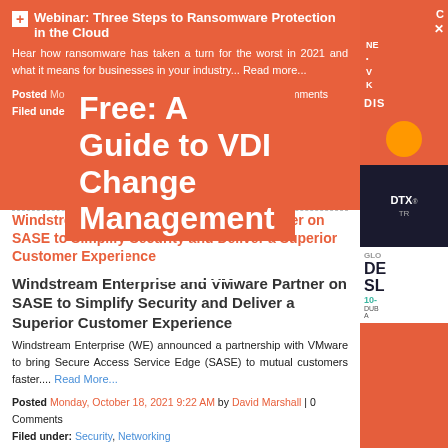Webinar: Three Steps to Ransomware Protection in the Cloud
Hear how ransomware has taken a turn for the worst in 2021 and what it means for businesses in your industry... Read more...
Posted Monday, October 18, 2021 by David Marshall | 0 Comments
Filed under: Webinar
[Figure (other): Overlay popup with text: Free: A Guide to VDI Change Management, with a Click Here button]
Windstream Enterprise and VMware Partner on SASE to Simplify Security and Deliver a Superior Customer Experience
Windstream Enterprise (WE) announced a partnership with VMware to bring Secure Access Service Edge (SASE) to mutual customers faster.... Read More...
Posted Monday, October 18, 2021 9:22 AM by David Marshall | 0 Comments
Filed under: Security, Networking
ManageEngine Enhances Endpoint Security with New Unified Endpoint Management Capabilities